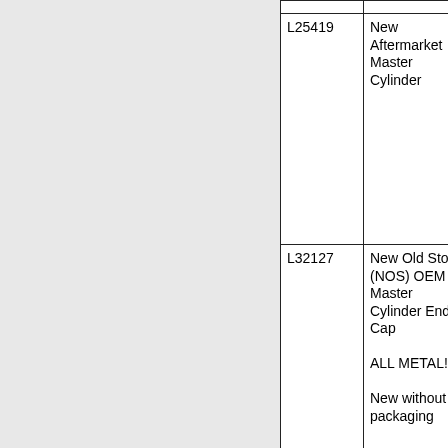| Part Number | Description | Details (partial) |
| --- | --- | --- |
| L25419 | New Aftermarket Master Cylinder | C 4 5 6 S B 1 S B 1 S |
| L32127 | New Old Stock (NOS) OEM Master Cylinder End Cap

ALL METAL!!!!

New without packaging | C 4 5 6 S B 1 S B 1 S |